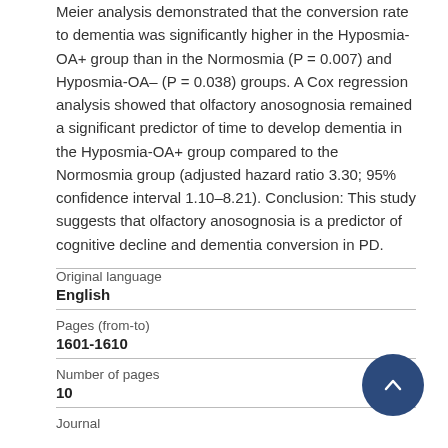Meier analysis demonstrated that the conversion rate to dementia was significantly higher in the Hyposmia-OA+ group than in the Normosmia (P = 0.007) and Hyposmia-OA– (P = 0.038) groups. A Cox regression analysis showed that olfactory anosognosia remained a significant predictor of time to develop dementia in the Hyposmia-OA+ group compared to the Normosmia group (adjusted hazard ratio 3.30; 95% confidence interval 1.10–8.21). Conclusion: This study suggests that olfactory anosognosia is a predictor of cognitive decline and dementia conversion in PD.
| Field | Value |
| --- | --- |
| Original language | English |
| Pages (from-to) | 1601-1610 |
| Number of pages | 10 |
| Journal |  |